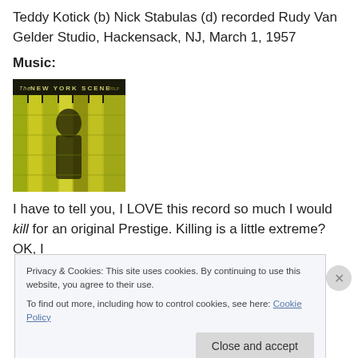Teddy Kotick (b) Nick Stabulas (d) recorded Rudy Van Gelder Studio, Hackensack, NJ, March 1, 1957
Music:
[Figure (photo): Album cover of 'The New York Scene' - a yellow-toned image of a person reflected in glass building windows]
I have to tell you, I LOVE this record so much I would kill for an original Prestige. Killing is a little extreme? OK, I
Privacy & Cookies: This site uses cookies. By continuing to use this website, you agree to their use.
To find out more, including how to control cookies, see here: Cookie Policy
Close and accept